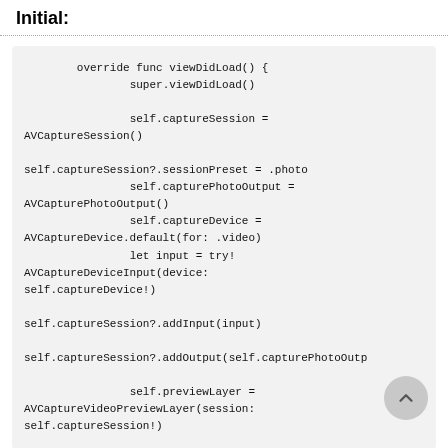Initial:
override func viewDidLoad() {
        super.viewDidLoad()

                self.captureSession = AVCaptureSession()

self.captureSession?.sessionPreset = .photo
                self.capturePhotoOutput = AVCapturePhotoOutput()
                self.captureDevice = AVCaptureDevice.default(for: .video)
                let input = try! AVCaptureDeviceInput(device: self.captureDevice!)

self.captureSession?.addInput(input)

self.captureSession?.addOutput(self.capturePhotoOutput

                self.previewLayer = AVCaptureVideoPreviewLayer(session: self.captureSession!)